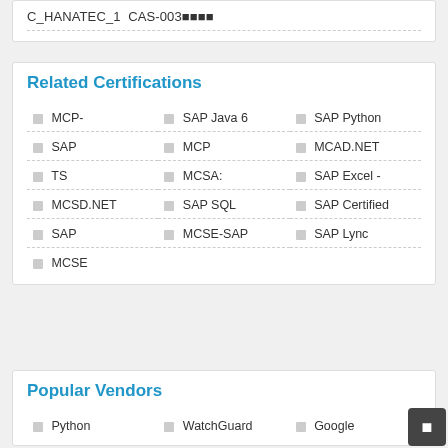C_HANATEC_1  CAS-003
Related Certifications
MCP-
SAP Java 6
SAP Python
SAP
MCP
MCAD.NET
TS
MCSA:
SAP Excel -
MCSD.NET
SAP SQL
SAP Certified
SAP
MCSE-SAP
SAP Lync
MCSE
Popular Vendors
Python
WatchGuard
Google